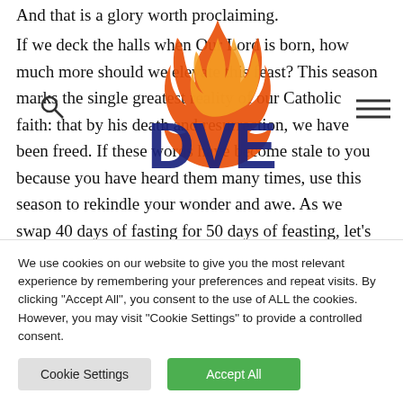And that is a glory worth proclaiming.
If we deck the halls when Our Lord is born, how much more should we elevate this feast? This season marks the single greatest reality of our Catholic faith: that by his death and resurrection, we have been freed. If these words have become stale to you because you have heard them many times, use this season to rekindle your wonder and awe. As we swap 40 days of fasting for 50 days of feasting, let's be intentional in our celebration. Here are
[Figure (logo): DVE logo with flame icon overlaid on article text]
We use cookies on our website to give you the most relevant experience by remembering your preferences and repeat visits. By clicking "Accept All", you consent to the use of ALL the cookies. However, you may visit "Cookie Settings" to provide a controlled consent.